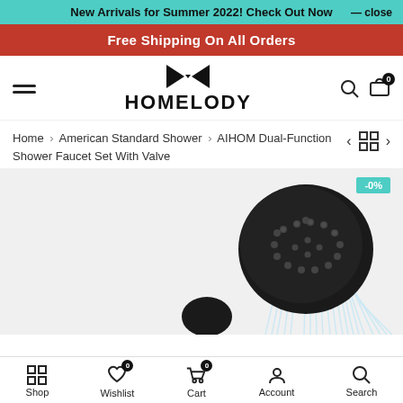New Arrivals for Summer 2022! Check Out Now — close
Free Shipping On All Orders
HOMELODY
Home > American Standard Shower > AIHOM Dual-Function Shower Faucet Set With Valve
[Figure (photo): Black dual-function shower head spraying water on a white background, with a teal badge overlay in the top right corner]
Shop  Wishlist  Cart  Account  Search